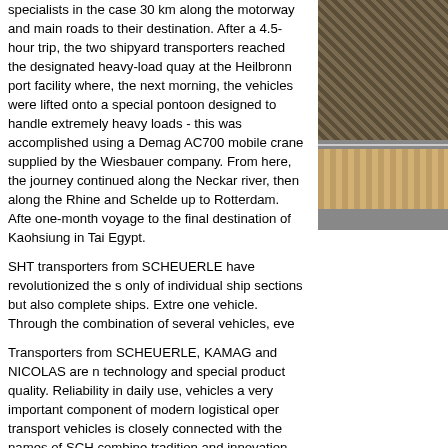specialists in the case 30 km along the motorway and main roads to their destination. After a 4.5-hour trip, the two shipyard transporters reached the designated heavy-load quay at the Heilbronn port facility where, the next morning, the vehicles were lifted onto a special pontoon designed to handle extremely heavy loads - this was accomplished using a Demag AC700 mobile crane supplied by the Wiesbauer company. From here, the journey continued along the Neckar river, then along the Rhine and Schelde up to Rotterdam. After one-month voyage to the final destination of Kaohsiung in Taiwan or Egypt.
[Figure (photo): Two stacked photographs showing industrial/transport equipment — top shows wooden/metal barrels or cylindrical objects in a warehouse; bottom shows a blurred horizontal motion image of transport vehicles or equipment.]
SHT transporters from SCHEUERLE have revolutionized the shipbuilding industry, enabling the transport not only of individual ship sections but also complete ships. Extremely heavy loads can be transported with one vehicle. Through the combination of several vehicles, even heavier loads can be moved.
Transporters from SCHEUERLE, KAMAG and NICOLAS are renowned worldwide for their high-performance technology and special product quality. Reliability in daily use, ease of operation and durability make these vehicles a very important component of modern logistical operations. The global success of heavy-duty transport vehicles is closely connected with the names of SCHEUERLE, KAMAG and NICOLAS. These brands combine tradition and innovation and belong to the company group of the TII Group - Transporter Industry International is world market leader for heavy-duty transporters.
Source: SCHEUERLE Fahrzeugfabrik